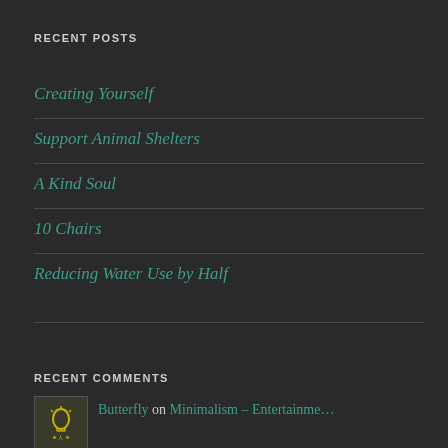RECENT POSTS
Creating Yourself
Support Animal Shelters
A Kind Soul
10 Chairs
Reducing Water Use by Half
RECENT COMMENTS
Butterfly on Minimalism – Entertainme…